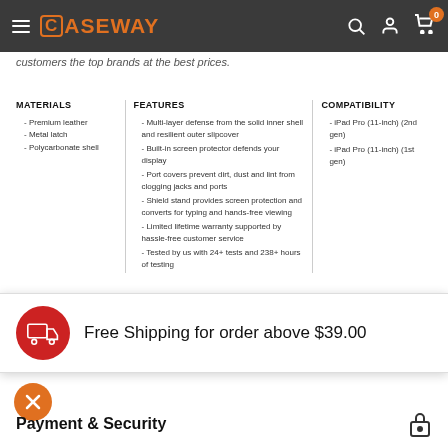Caseway - Menu, Search, Account, Cart (0)
customers the top brands at the best prices.
MATERIALS
Premium leather
Metal latch
Polycarbonate shell
FEATURES
Multi-layer defense from the solid inner shell and resilient outer slipcover
Built-in screen protector defends your display
Port covers prevent dirt, dust and lint from clogging jacks and ports
Shield stand provides screen protection and converts for typing and hands-free viewing
Limited lifetime warranty supported by hassle-free customer service
Tested by us with 24+ tests and 238+ hours of testing
COMPATIBILITY
iPad Pro (11-inch) (2nd gen)
iPad Pro (11-inch) (1st gen)
Free Shipping for order above $39.00
Payment & Security